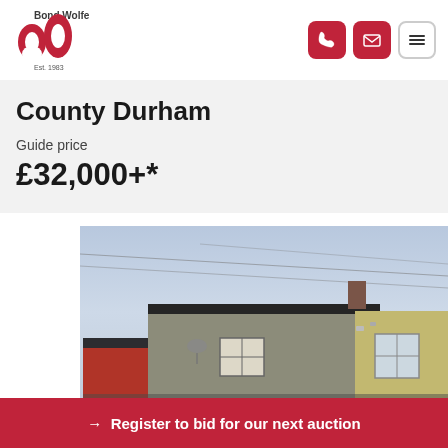[Figure (logo): Bond Wolfe logo with red BW lettermark and Est. 1983 text]
County Durham
Guide price
£32,000+*
[Figure (photo): Exterior photograph of a terraced house in County Durham, showing a flat-roofed grey brick property with a small red brick building to the left and a yellow rendered extension to the right. Overcast sky with visible power lines.]
→ Register to bid for our next auction